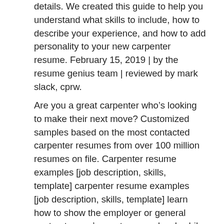details. We created this guide to help you understand what skills to include, how to describe your experience, and how to add personality to your new carpenter resume. February 15, 2019 | by the resume genius team | reviewed by mark slack, cprw.
Are you a great carpenter who’s looking to make their next move? Customized samples based on the most contacted carpenter resumes from over 100 million resumes on file. Carpenter resume examples [job description, skills, template] carpenter resume examples [job description, skills, template] learn how to show the employer or general contractor you’re custom woodwork while the other candidates are just oriented strand board construction.